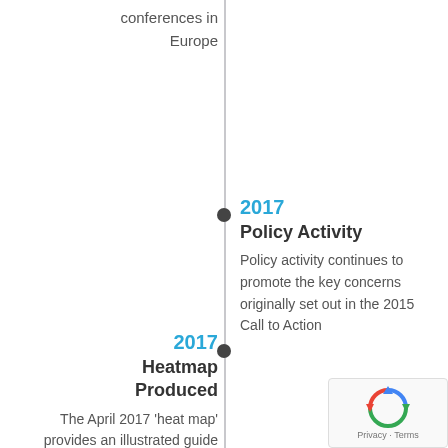conferences in Europe
2017
Policy Activity
Policy activity continues to promote the key concerns originally set out in the 2015 Call to Action
2017
Heatmap Produced
The April 2017 'heat map' provides an illustrated guide to